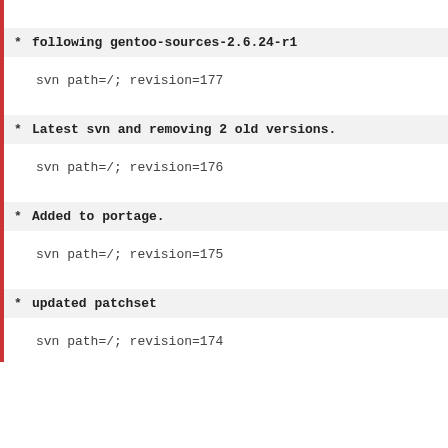| (red bar line)
| (red bar line)
* following gentoo-sources-2.6.24-r1
| svn path=/; revision=177
* Latest svn and removing 2 old versions.
| svn path=/; revision=176
* Added to portage.
| svn path=/; revision=175
* updated patchset
| svn path=/; revision=174